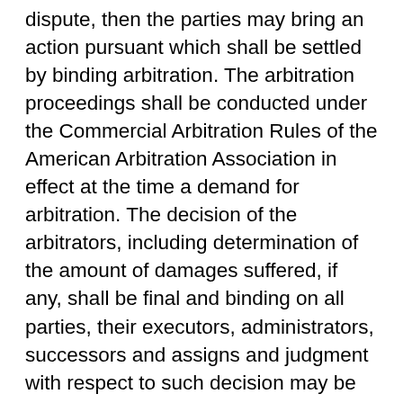dispute, then the parties may bring an action pursuant which shall be settled by binding arbitration. The arbitration proceedings shall be conducted under the Commercial Arbitration Rules of the American Arbitration Association in effect at the time a demand for arbitration. The decision of the arbitrators, including determination of the amount of damages suffered, if any, shall be final and binding on all parties, their executors, administrators, successors and assigns and judgment with respect to such decision may be entered in any court of applicable jurisdiction. Each party shall bear its own expenses in the arbitration, for attorneys' fees, and for fees with respect to its witnesses; provided that, the prevailing